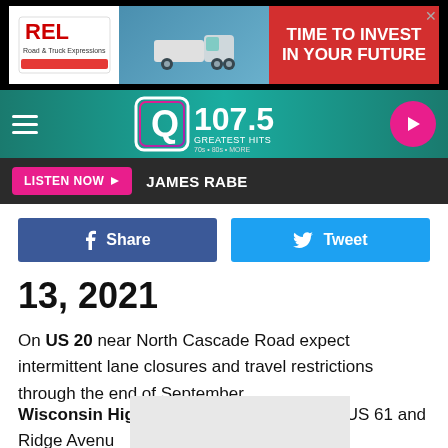[Figure (other): Advertisement banner: REL logo on white, truck image, red section with text TIME TO INVEST IN YOUR FUTURE]
[Figure (other): Q107.5 Greatest Hits radio station navigation bar with hamburger menu and play button]
LISTEN NOW ▶  JAMES RABE
[Figure (other): Facebook Share button and Twitter Tweet button row]
13, 2021
On US 20 near North Cascade Road expect intermittent lane closures and travel restrictions through the end of September.
Wisconsin Highway 81 is closed between US 61 and Ridge Avenue in Platteville. Work is expected to be completed in Nov